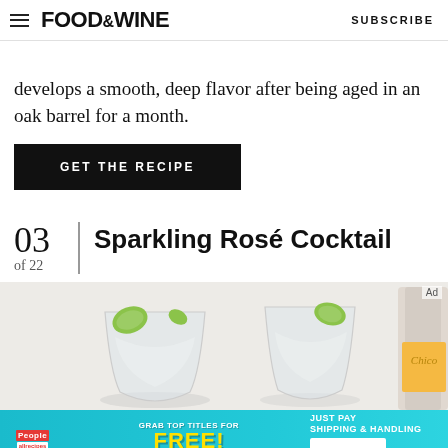FOOD&WINE   SUBSCRIBE
develops a smooth, deep flavor after being aged in an oak barrel for a month.
GET THE RECIPE
03 of 22  Sparkling Rosé Cocktail
[Figure (photo): Two cocktail glasses with ice and lime garnish, with a Topo Chico bottle in background]
[Figure (infographic): Advertisement banner: People and allrecipes magazines, text GRAB TOP TITLES FOR FREE! (UP TO $100) JUST PAY SHIPPING & HANDLING Shop Now arrow]